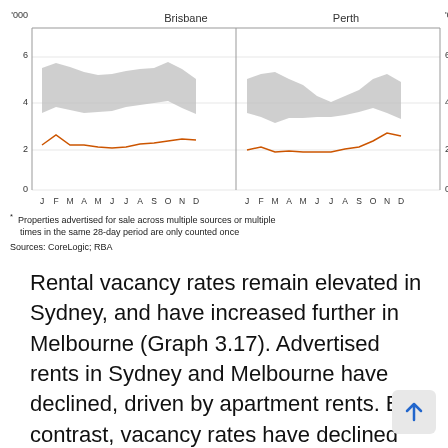[Figure (continuous-plot): Dual-panel line chart (Brisbane and Perth) showing properties advertised for sale ('000) over a year from J to D. Each panel has a grey shaded band representing a range and an orange line showing current values. Brisbane: orange line rises from ~2 to ~4, grey band from ~3.5 to ~6.5. Perth: orange line stays ~1.5–3.5, grey band ~2.5–5.5.]
* Properties advertised for sale across multiple sources or multiple times in the same 28-day period are only counted once
Sources: CoreLogic; RBA
Rental vacancy rates remain elevated in Sydney, and have increased further in Melbourne (Graph 3.17). Advertised rents in Sydney and Melbourne have declined, driven by apartment rents. By contrast, vacancy rates have declined and rents have increased strongly in Perth, where lower dwelling investment in previous years has limited the supply of new rental stock. More generally, lower rental income could present cash flow challenges for some property